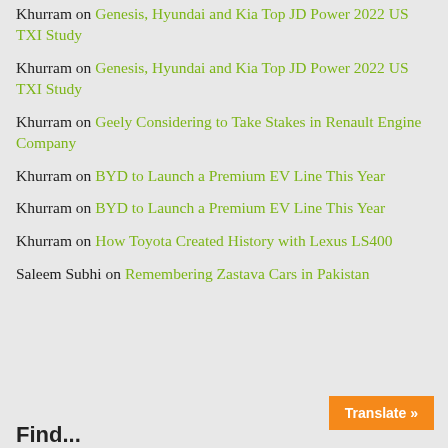Khurram on Genesis, Hyundai and Kia Top JD Power 2022 US TXI Study
Khurram on Genesis, Hyundai and Kia Top JD Power 2022 US TXI Study
Khurram on Geely Considering to Take Stakes in Renault Engine Company
Khurram on BYD to Launch a Premium EV Line This Year
Khurram on BYD to Launch a Premium EV Line This Year
Khurram on How Toyota Created History with Lexus LS400
Saleem Subhi on Remembering Zastava Cars in Pakistan
Find...